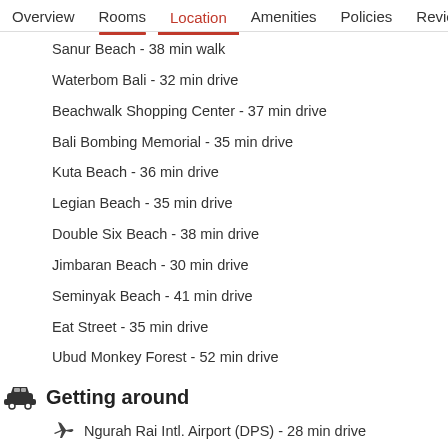Overview | Rooms | Location | Amenities | Policies | Reviews
Sanur Beach - 38 min walk
Waterbom Bali - 32 min drive
Beachwalk Shopping Center - 37 min drive
Bali Bombing Memorial - 35 min drive
Kuta Beach - 36 min drive
Legian Beach - 35 min drive
Double Six Beach - 38 min drive
Jimbaran Beach - 30 min drive
Seminyak Beach - 41 min drive
Eat Street - 35 min drive
Ubud Monkey Forest - 52 min drive
Getting around
Ngurah Rai Intl. Airport (DPS) - 28 min drive
Free area shuttle